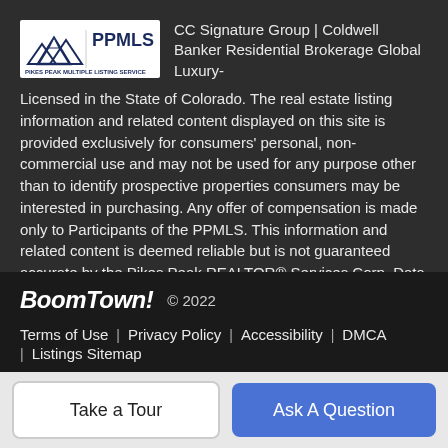[Figure (logo): Pikes Peak Multiple Listing Service (PPMLS) logo with mountain peaks icon and text]
CC Signature Group | Coldwell Banker Residential Brokerage Global Luxury- Licensed in the State of Colorado. The real estate listing information and related content displayed on this site is provided exclusively for consumers' personal, non-commercial use and may not be used for any purpose other than to identify prospective properties consumers may be interested in purchasing. Any offer of compensation is made only to Participants of the PPMLS. This information and related content is deemed reliable but is not guaranteed accurate by the Pikes Peak REALTOR® Services Corp. Data last updated 2022-09-02T22:41:09.67.
[Figure (logo): BoomTown! logo in bold italic white text]
© 2022
Terms of Use  |  Privacy Policy  |  Accessibility  |  DMCA  |  Listings Sitemap
Take a Tour
Ask A Question